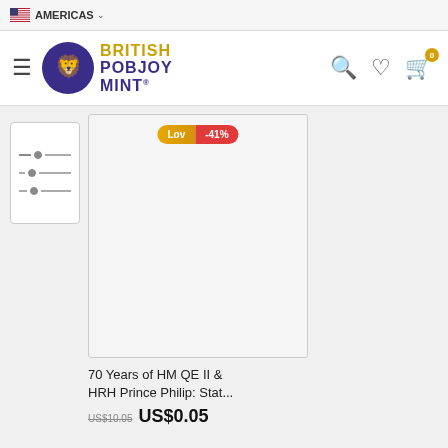AMERICAS
[Figure (logo): British Pobjoy Mint logo with lion crest in purple circle and gold/purple text]
[Figure (illustration): Product image placeholder for 70 Years of HM QE II & HRH Prince Philip commemorative item, with 'Low -41%' badge]
70 Years of HM QE II & HRH Prince Philip: Stat...
US$10.05  US$0.05